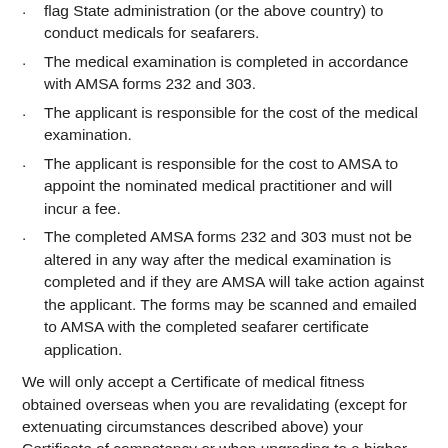flag State administration (or the above country) to conduct medicals for seafarers.
The medical examination is completed in accordance with AMSA forms 232 and 303.
The applicant is responsible for the cost of the medical examination.
The applicant is responsible for the cost to AMSA to appoint the nominated medical practitioner and will incur a fee.
The completed AMSA forms 232 and 303 must not be altered in any way after the medical examination is completed and if they are AMSA will take action against the applicant. The forms may be scanned and emailed to AMSA with the completed seafarer certificate application.
We will only accept a Certificate of medical fitness obtained overseas when you are revalidating (except for extenuating circumstances described above) your Certificate of competency or when upgrading to a higher certificate of competency. Where a certificate holder is living and/or working overseas and wishes to renew or upgrade their Certificate of